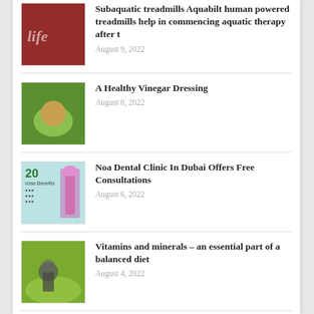Subaquatic treadmills Aquabilt human powered treadmills help in commencing aquatic therapy after t
A Healthy Vinegar Dressing
Noa Dental Clinic In Dubai Offers Free Consultations
Vitamins and minerals – an essential part of a balanced diet
The Growing Popularity Of Yoga Certification Courses Worldwide
Archives